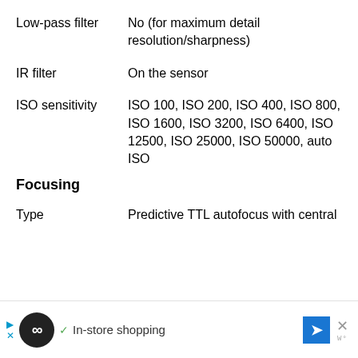| Low-pass filter | No (for maximum detail resolution/sharpness) |
| IR filter | On the sensor |
| ISO sensitivity | ISO 100, ISO 200, ISO 400, ISO 800, ISO 1600, ISO 3200, ISO 6400, ISO 12500, ISO 25000, ISO 50000, auto ISO |
Focusing
| Type | Predictive TTL autofocus with central |